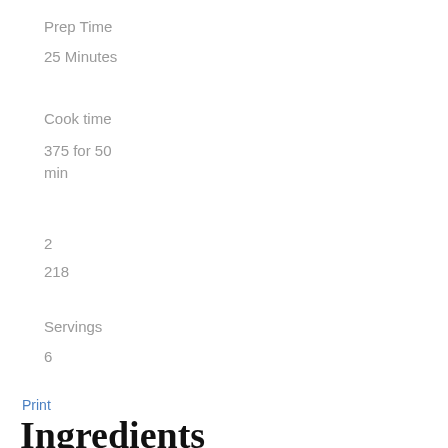Prep Time
25 Minutes
Cook time
375 for 50 min
2
218
Servings
6
Print
Ingredients